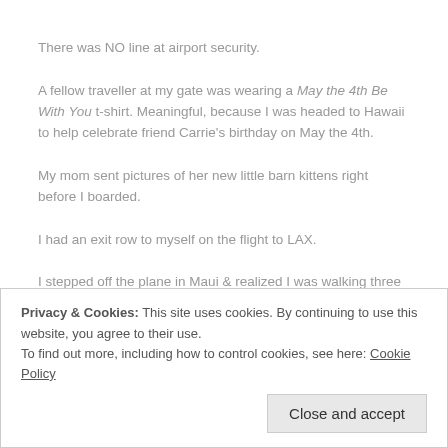There was NO line at airport security.
A fellow traveller at my gate was wearing a May the 4th Be With You t-shirt. Meaningful, because I was headed to Hawaii to help celebrate friend Carrie's birthday on May the 4th.
My mom sent pictures of her new little barn kittens right before I boarded.
I had an exit row to myself on the flight to LAX.
I stepped off the plane in Maui & realized I was walking three times faster than everyone else in the airport–a reminder to just slow down already.
The drive to the hotel north of Lahaina had no heavy traffic.
Privacy & Cookies: This site uses cookies. By continuing to use this website, you agree to their use. To find out more, including how to control cookies, see here: Cookie Policy